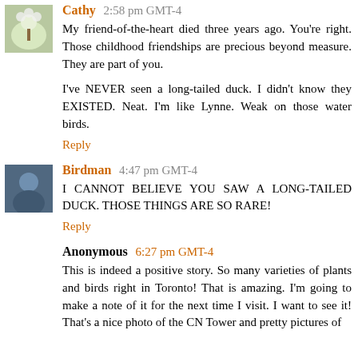Cathy 2:58 pm GMT-4
My friend-of-the-heart died three years ago. You're right. Those childhood friendships are precious beyond measure. They are part of you.

I've NEVER seen a long-tailed duck. I didn't know they EXISTED. Neat. I'm like Lynne. Weak on those water birds.
Reply
Birdman 4:47 pm GMT-4
I CANNOT BELIEVE YOU SAW A LONG-TAILED DUCK. THOSE THINGS ARE SO RARE!
Reply
Anonymous 6:27 pm GMT-4
This is indeed a positive story. So many varieties of plants and birds right in Toronto! That is amazing. I'm going to make a note of it for the next time I visit. I want to see it! That's a nice photo of the CN Tower and pretty pictures of